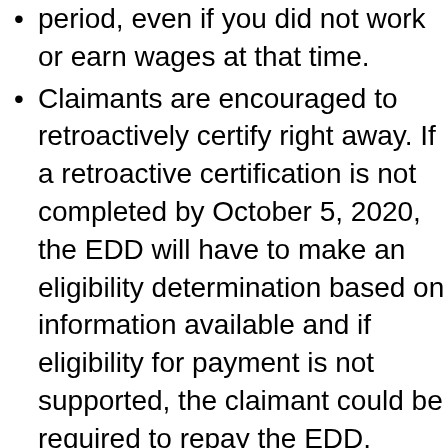period, even if you did not work or earn wages at that time.
Claimants are encouraged to retroactively certify right away.  If a retroactive certification is not completed by October 5, 2020, the EDD will have to make an eligibility determination based on information available and if eligibility for payment is not supported, the claimant could be required to repay the EDD.
For those claimants who did return to work during the temporary suspension and received benefits anyway, the EDD is required to get a completed certification from them as well. These claimants should also follow the instructions on the Retroactive Certification webpage for reporting how much was earned during